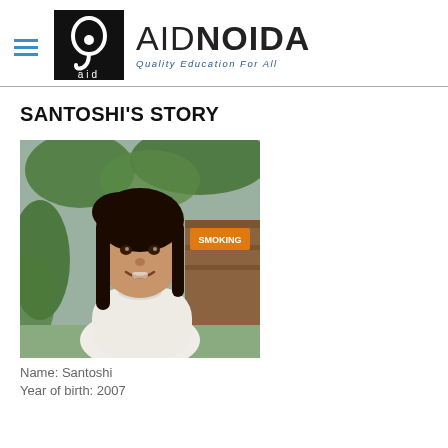[Figure (logo): AID Noida logo with black square containing a stylized ear/hook graphic with 'aid' text below, next to large bold text 'AIDNOIDA' and tagline 'Quality Education For All']
SANTOSHI'S STORY
[Figure (photo): Portrait photo of a young girl named Santoshi, smiling, wearing a white zip-up sweater, with long dark hair, outdoors with trees and a fence in the background]
Name: Santoshi
Year of birth: 2007